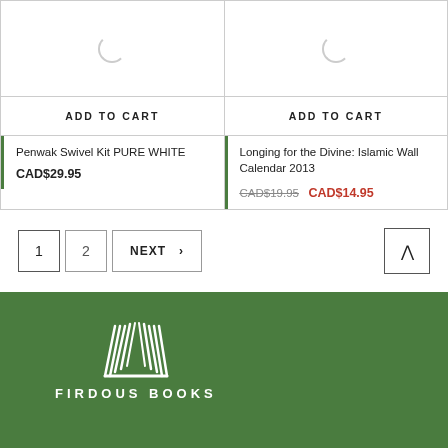[Figure (screenshot): Product card with loading spinner for Penwak Swivel Kit PURE WHITE]
[Figure (screenshot): Product card with loading spinner for Longing for the Divine: Islamic Wall Calendar 2013]
ADD TO CART
Penwak Swivel Kit PURE WHITE
CAD$29.95
ADD TO CART
Longing for the Divine: Islamic Wall Calendar 2013
CAD$19.95 CAD$14.95
1 2 NEXT >
[Figure (logo): Firdous Books logo — white stylized book/pages icon with text FIRDOUS BOOKS on green background]